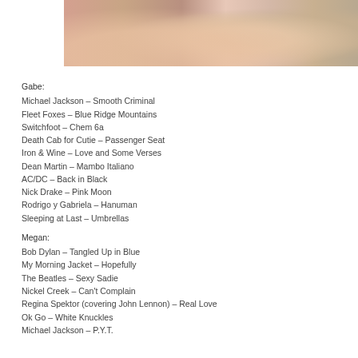[Figure (photo): Close-up photo of people sitting together, showing legs and hands, one person in a denim shirt with hands clasped, another wearing a bracelet]
Gabe:
Michael Jackson – Smooth Criminal
Fleet Foxes – Blue Ridge Mountains
Switchfoot – Chem 6a
Death Cab for Cutie – Passenger Seat
Iron & Wine – Love and Some Verses
Dean Martin – Mambo Italiano
AC/DC – Back in Black
Nick Drake – Pink Moon
Rodrigo y Gabriela – Hanuman
Sleeping at Last – Umbrellas
Megan:
Bob Dylan – Tangled Up in Blue
My Morning Jacket – Hopefully
The Beatles – Sexy Sadie
Nickel Creek – Can't Complain
Regina Spektor (covering John Lennon) – Real Love
Ok Go – White Knuckles
Michael Jackson – P.Y.T.